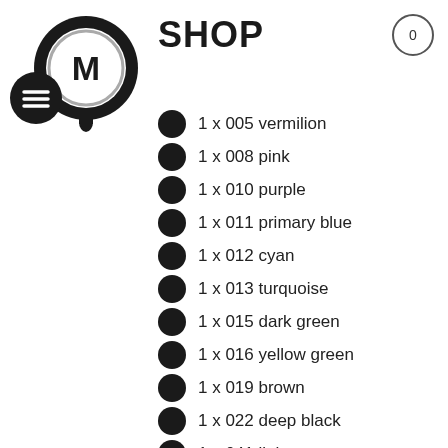[Figure (logo): Molotow brand logo: black circular icon with M letter and drip, with hamburger menu icon overlay]
SHOP
1 x 005 vermilion
1 x 008 pink
1 x 010 purple
1 x 011 primary blue
1 x 012 cyan
1 x 013 turquoise
1 x 015 dark green
1 x 016 yellow green
1 x 019 brown
1 x 022 deep black
1 x 041 light orange
1 x 043 carmine red
1 x 045 burgundy
1 x 048 violet
1 x 052 light blue
1 x 051 riviera